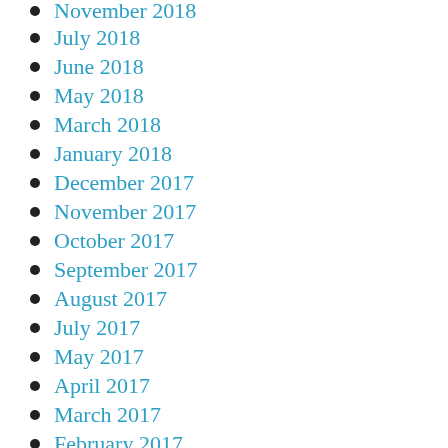November 2018
July 2018
June 2018
May 2018
March 2018
January 2018
December 2017
November 2017
October 2017
September 2017
August 2017
July 2017
May 2017
April 2017
March 2017
February 2017
January 2017